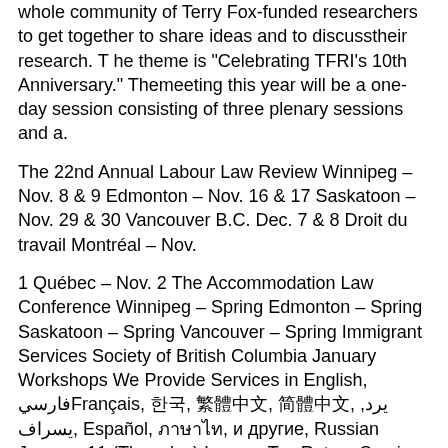whole community of Terry Fox-funded researchers to get together to share ideas and to discusstheir research. T he theme is "Celebrating TFRI's 10th Anniversary." Themeeting this year will be a one-day session consisting of three plenary sessions and a.
The 22nd Annual Labour Law Review Winnipeg – Nov. 8 & 9 Edmonton – Nov. 16 & 17 Saskatoon – Nov. 29 & 30 Vancouver B.C. Dec. 7 & 8 Droit du travail Montréal – Nov.
1 Québec – Nov. 2 The Accommodation Law Conference Winnipeg – Spring Edmonton – Spring Saskatoon – Spring Vancouver – Spring Immigrant Services Society of British Columbia January Workshops We Provide Services in English, فارسیFrançais, 한국, 繁體中文, 簡體中文, یرد, يسراف, Español, ภาษาไทย, и другие, Russian January 11 (Thursday) Income Tax Return Seminar (in Korean).
R8PA Annual Conference Ramkota Hotel & July 3-6 Center, Bismarck, North Dakota. MayNational Association of Clean Water Agencies Tacoma, Washington. AugustRegion VI Pretreatment Association Embassy Suites by Hilton Denton